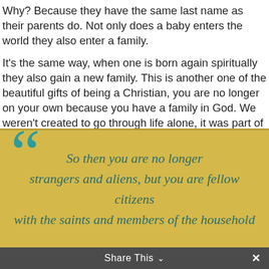Why? Because they have the same last name as their parents do. Not only does a baby enters the world they also enter a family.
It's the same way, when one is born again spiritually they also gain a new family. This is another one of the beautiful gifts of being a Christian, you are no longer on your own because you have a family in God. We weren't created to go through life alone, it was part of God's design to do life together! Once you become saved you gain access to God as your Father and other Christians as your fellow brothers and sisters!
[Figure (other): Gold/yellow quote box with large teal quotation marks and italic cursive text reading: 'So then you are no longer strangers and aliens, but you are fellow citizens with the saints and members of the household of God' — partially visible]
Share This ∨  ×